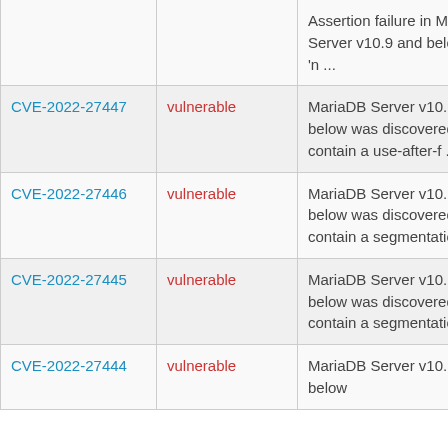| CVE ID | Status | Description |
| --- | --- | --- |
|  |  | Assertion failure in MariaDB Server v10.9 and below via 'n ... |
| CVE-2022-27447 | vulnerable | MariaDB Server v10.9 and below was discovered to contain a use-after-f ... |
| CVE-2022-27446 | vulnerable | MariaDB Server v10.9 and below was discovered to contain a segmentatio ... |
| CVE-2022-27445 | vulnerable | MariaDB Server v10.9 and below was discovered to contain a segmentatio ... |
| CVE-2022-27444 | vulnerable | MariaDB Server v10.9 and below |